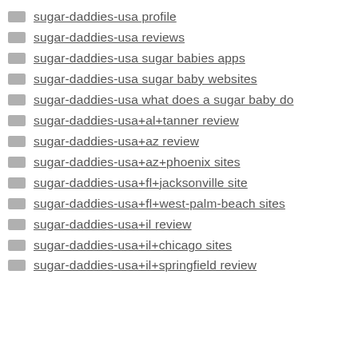sugar-daddies-usa profile
sugar-daddies-usa reviews
sugar-daddies-usa sugar babies apps
sugar-daddies-usa sugar baby websites
sugar-daddies-usa what does a sugar baby do
sugar-daddies-usa+al+tanner review
sugar-daddies-usa+az review
sugar-daddies-usa+az+phoenix sites
sugar-daddies-usa+fl+jacksonville site
sugar-daddies-usa+fl+west-palm-beach sites
sugar-daddies-usa+il review
sugar-daddies-usa+il+chicago sites
sugar-daddies-usa+il+springfield review